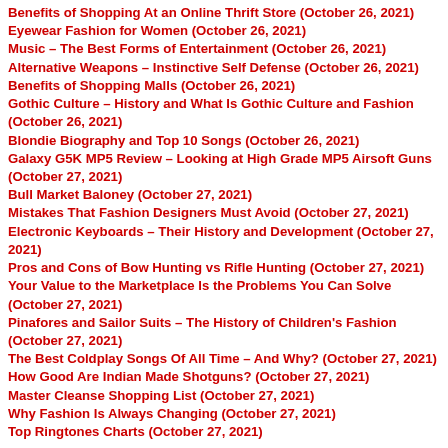Benefits of Shopping At an Online Thrift Store (October 26, 2021)
Eyewear Fashion for Women (October 26, 2021)
Music – The Best Forms of Entertainment (October 26, 2021)
Alternative Weapons – Instinctive Self Defense (October 26, 2021)
Benefits of Shopping Malls (October 26, 2021)
Gothic Culture – History and What Is Gothic Culture and Fashion (October 26, 2021)
Blondie Biography and Top 10 Songs (October 26, 2021)
Galaxy G5K MP5 Review – Looking at High Grade MP5 Airsoft Guns (October 27, 2021)
Bull Market Baloney (October 27, 2021)
Mistakes That Fashion Designers Must Avoid (October 27, 2021)
Electronic Keyboards – Their History and Development (October 27, 2021)
Pros and Cons of Bow Hunting vs Rifle Hunting (October 27, 2021)
Your Value to the Marketplace Is the Problems You Can Solve (October 27, 2021)
Pinafores and Sailor Suits – The History of Children's Fashion (October 27, 2021)
The Best Coldplay Songs Of All Time – And Why? (October 27, 2021)
How Good Are Indian Made Shotguns? (October 27, 2021)
Master Cleanse Shopping List (October 27, 2021)
Why Fashion Is Always Changing (October 27, 2021)
Top Ringtones Charts (October 27, 2021)